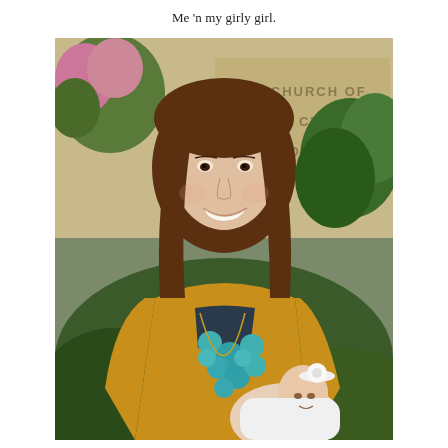Me 'n my girly girl.
[Figure (photo): A young woman with long brown hair, wearing a mustard yellow top and a turquoise statement necklace, holding a newborn baby dressed in white with a white floral headband. They are standing outside in front of a building with a sign reading 'THE CHURCH OF JESUS CHRIST LATTER DAY SAINTS', surrounded by green foliage.]